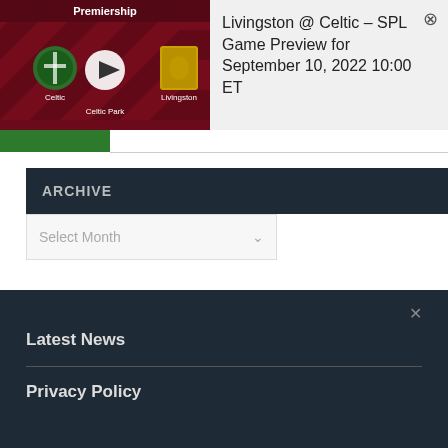[Figure (screenshot): Video thumbnail showing Premiership match between Celtic and Livingston at Celtic Park, with team crests and a play button overlay on a dark red diamond-pattern background]
Livingston @ Celtic – SPL Game Preview for September 10, 2022 10:00 ET
ARCHIVE
Select Month
Latest News
Privacy Policy